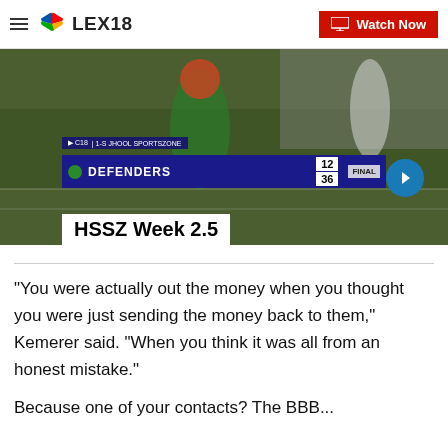LEX18 | Watch Now
[Figure (screenshot): Video thumbnail showing a football player running on field with scoreboard overlay showing DEFENDERS 12, opponent 36, FINAL. Label reads HSSZ Week 2.5. NBC LEX18 High School SportsZone branding.]
"You were actually out the money when you thought you were just sending the money back to them," Kemerer said. "When you think it was all from an honest mistake."
Because one of your contacts? The BBB...